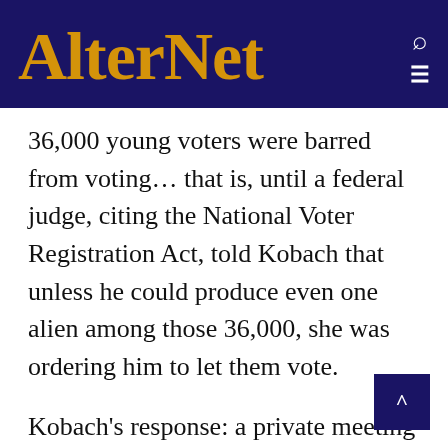AlterNet
36,000 young voters were barred from voting… that is, until a federal judge, citing the National Voter Registration Act, told Kobach that unless he could produce even one alien among those 36,000, she was ordering him to let them vote.
Kobach's response: a private meeting with Trump at Trump Tower where he proposed changing the Act.
All of this to eliminate a crime that does not occur. Besides Trump's claims of alien voters